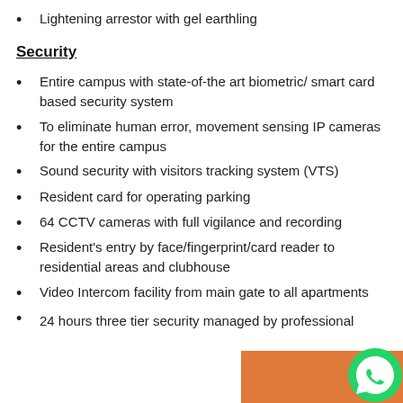Lightening arrestor with gel earthling
Security
Entire campus with state-of-the art biometric/ smart card based security system
To eliminate human error, movement sensing IP cameras for the entire campus
Sound security with visitors tracking system (VTS)
Resident card for operating parking
64 CCTV cameras with full vigilance and recording
Resident's entry by face/fingerprint/card reader to residential areas and clubhouse
Video Intercom facility from main gate to all apartments
24 hours three tier security managed by professional